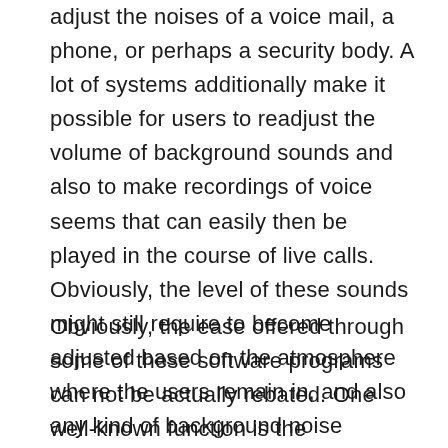adjust the noises of a voice mail, a phone, or perhaps a security body. A lot of systems additionally make it possible for users to readjust the volume of background sounds and also to make recordings of voice seems that can easily then be played in the course of live calls. Obviously, the level of these sounds might still require to become adjusted based on the atmosphere where the users remain in, and also any kind of background noise currently existing.
Obviously, the ease offered through some of these software programs can not be actually rebated. One well-known function is the